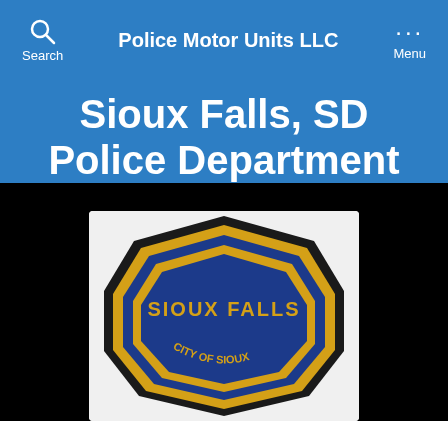Police Motor Units LLC
Sioux Falls, SD Police Department
[Figure (photo): Police department embroidered badge/patch showing 'SIOUX FALLS' text and shield shape with blue and gold colors on black background]